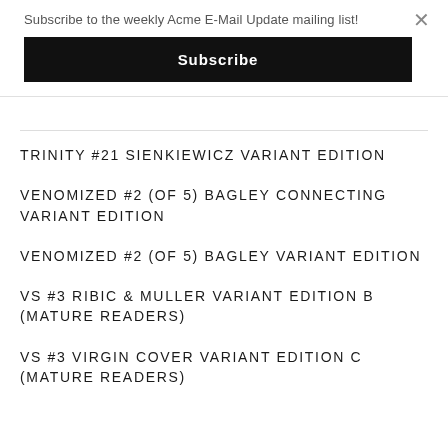Subscribe to the weekly Acme E-Mail Update mailing list!
Subscribe
TRINITY #21 SIENKIEWICZ VARIANT EDITION
VENOMIZED #2 (OF 5) BAGLEY CONNECTING VARIANT EDITION
VENOMIZED #2 (OF 5) BAGLEY VARIANT EDITION
VS #3 RIBIC & MULLER VARIANT EDITION B (MATURE READERS)
VS #3 VIRGIN COVER VARIANT EDITION C (MATURE READERS)